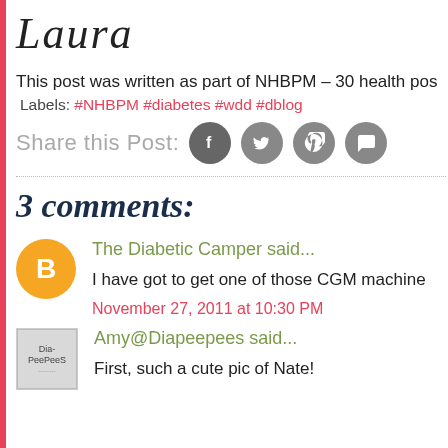[Figure (illustration): Cursive signature reading 'Laura']
This post was written as part of NHBPM – 30 health pos
Labels: #NHBPM #diabetes #wdd #dblog
Share this Post:
3 comments:
The Diabetic Camper said...
I have got to get one of those CGM machine
November 27, 2011 at 10:30 PM
Amy@Diapeepees said...
First, such a cute pic of Nate!